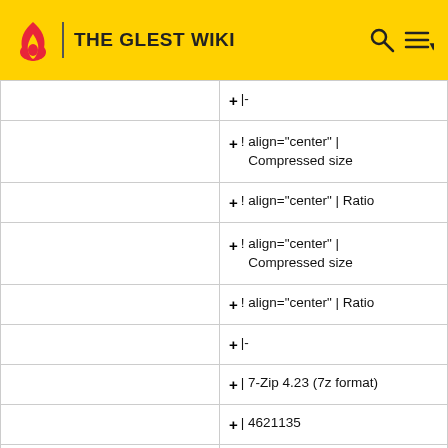THE GLEST WIKI
|  | |- |
|  | ! align="center" | Compressed size |
|  | ! align="center" | Ratio |
|  | ! align="center" | Compressed size |
|  | ! align="center" | Ratio |
|  | |- |
|  | | 7-Zip 4.23 (7z format) |
|  | | 4621135 |
|  | | 100% |
|  |  |